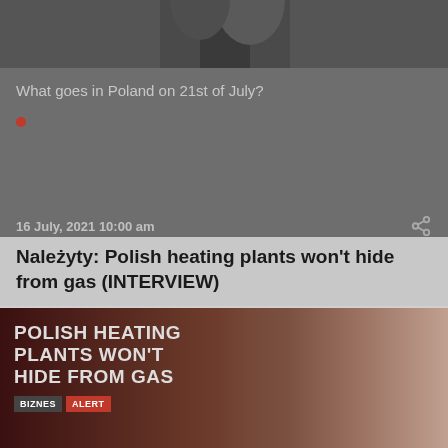[Figure (photo): Top cropped photo showing partial view of two people on dark background]
What goes in Poland on 21st of July?
•
16 July, 2021 10:00 am
Należyty: Polish heating plants won't hide from gas (INTERVIEW)
ENERGY   RENEWABLES
[Figure (photo): Bottom image showing a man's face on dark red background with overlay text: POLISH HEATING PLANTS WON'T HIDE FROM GAS, and tags BIZNES ALERT]